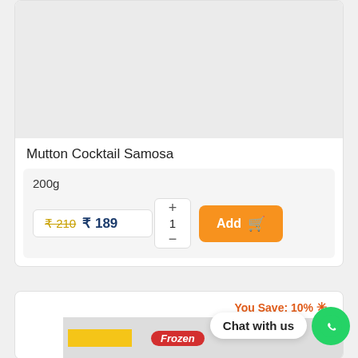[Figure (photo): Product image placeholder (gray background) for Mutton Cocktail Samosa]
Mutton Cocktail Samosa
200g
₹ 210  ₹ 189  1  Add
[Figure (photo): Second product card bottom portion showing 'You Save: 10%' badge and a frozen food product image with Frozen label]
You Save: 10% ✳
Chat with us